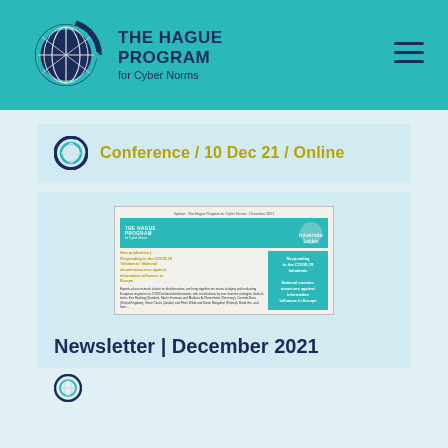THE HAGUE PROGRAM for Cyber Norms
Conference / 10 Dec 21 / Online
[Figure (screenshot): Newsletter thumbnail showing The Hague Program for Cyber Norms newsletter cover with teal header, logos, and article about Responding to COVID-19 Infodemic: National countermeasures against information influence in Europe]
Newsletter | December 2021